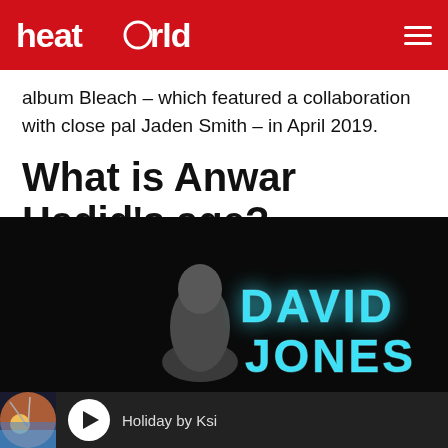heatworld
album Bleach – which featured a collaboration with close pal Jaden Smith – in April 2019.
What is Anwar Hadid's age?
At the time of writing, Anwar is 22 years old. He was born on 22 June 1999.
[Figure (photo): Dark stage photo with 'DAVID JONES' text lit in bright cyan/blue neon letters, with a person partially visible on the left side of the image.]
Holiday by Ksi